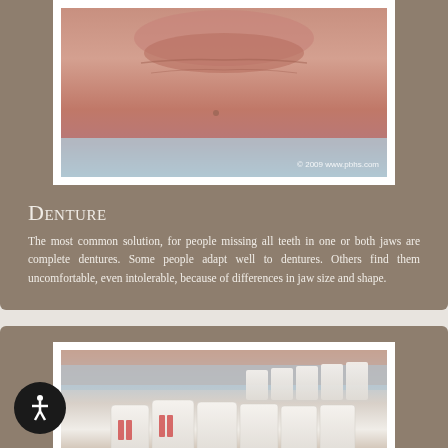[Figure (illustration): 3D medical illustration of a dental jaw showing missing teeth and gum tissue, with copyright watermark '© 2009 www.pbhs.com']
Denture
The most common solution, for people missing all teeth in one or both jaws are complete dentures. Some people adapt well to dentures. Others find them uncomfortable, even intolerable, because of differences in jaw size and shape.
[Figure (illustration): 3D medical illustration showing dental implants in the jaw with teeth visible from the side angle]